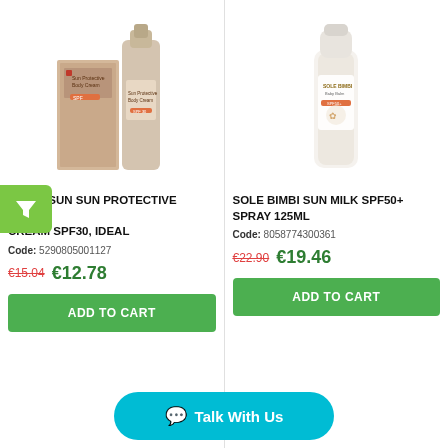[Figure (photo): Florosun Sun Protective Body Cream product image showing box and bottle]
FLOROSUN SUN PROTECTIVE BODY... CREAM SPF30, IDEAL
Code: 5290805001127
€15.04  €12.78
ADD TO CART
[Figure (photo): Sole Bimbi Sun Milk SPF50+ Spray 125ml product image showing white spray bottle]
SOLE BIMBI SUN MILK SPF50+ SPRAY 125ML
Code: 8058774300361
€22.90  €19.46
Talk With Us